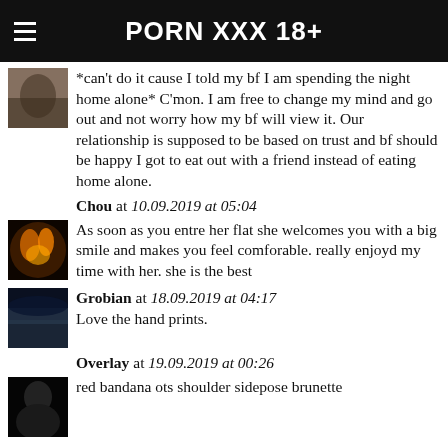PORN XXX 18+
*can't do it cause I told my bf I am spending the night home alone* C'mon. I am free to change my mind and go out and not worry how my bf will view it. Our relationship is supposed to be based on trust and bf should be happy I got to eat out with a friend instead of eating home alone.
Chou at 10.09.2019 at 05:04
As soon as you entre her flat she welcomes you with a big smile and makes you feel comforable. really enjoyd my time with her. she is the best
Grobian at 18.09.2019 at 04:17
Love the hand prints.
Overlay at 19.09.2019 at 00:26
red bandana ots shoulder sidepose brunette